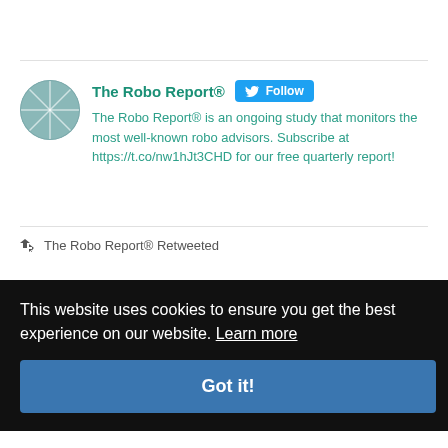[Figure (screenshot): Twitter profile card for The Robo Report® with avatar, Follow button, and bio text about monitoring robo advisors. Below is a retweet indicator. A cookie consent overlay appears at the bottom with 'Got it!' button.]